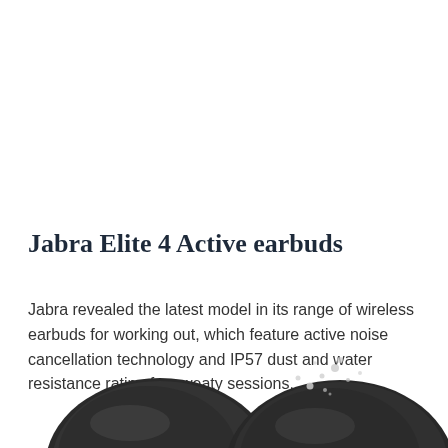Jabra Elite 4 Active earbuds
Jabra revealed the latest model in its range of wireless earbuds for working out, which feature active noise cancellation technology and IP57 dust and water resistance rating for sweaty sessions.
[Figure (photo): Bottom portion of dark grey/black Jabra Elite 4 Active earbuds photographed against a white background, with water droplets visible, showing the rounded shape of the earbuds.]